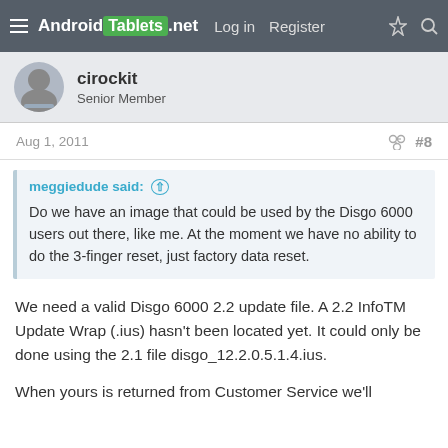Android Tablets .net  Log in  Register
cirockit
Senior Member
Aug 1, 2011  #8
meggiedude said:
Do we have an image that could be used by the Disgo 6000 users out there, like me. At the moment we have no ability to do the 3-finger reset, just factory data reset.
We need a valid Disgo 6000 2.2 update file. A 2.2 InfoTM Update Wrap (.ius) hasn't been located yet. It could only be done using the 2.1 file disgo_12.2.0.5.1.4.ius.
When yours is returned from Customer Service we'll